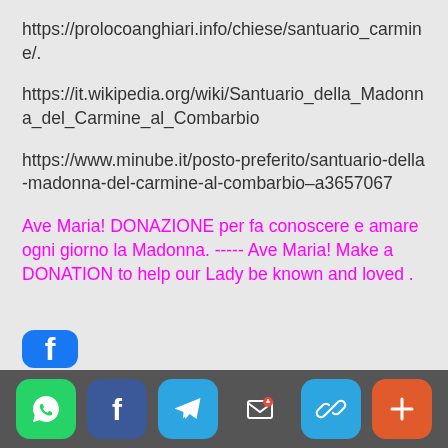https://prolocoanghiari.info/chiese/santuario_carmine/.
https://it.wikipedia.org/wiki/Santuario_della_Madonna_del_Carmine_al_Combarbio
https://www.minube.it/posto-preferito/santuario-della-madonna-del-carmine-al-combarbio–a3657067
Ave Maria! DONAZIONE per fa conoscere e amare ogni giorno la Madonna. ----- Ave Maria! Make a DONATION to help our Lady be known and loved .
[Figure (screenshot): Partial view of a circular Facebook-style icon at the bottom of the content area, partially cut off]
[Figure (infographic): Bottom app share bar with six rounded square icon buttons: WhatsApp (green), Facebook (dark blue), Telegram (light blue), Email/Message (dark grey), Link (light blue), More/Plus (orange-red)]